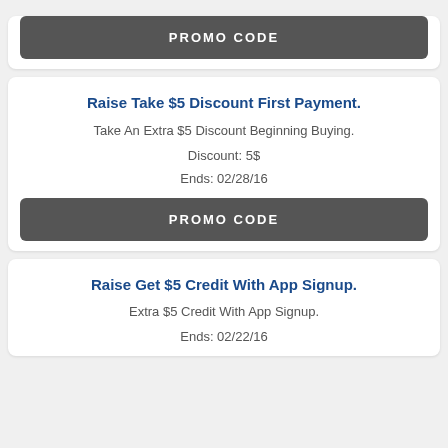PROMO CODE
Raise Take $5 Discount First Payment.
Take An Extra $5 Discount Beginning Buying.
Discount: 5$
Ends: 02/28/16
PROMO CODE
Raise Get $5 Credit With App Signup.
Extra $5 Credit With App Signup.
Ends: 02/22/16